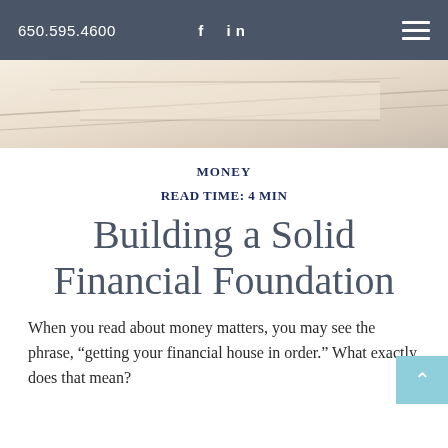650.595.4600  f  in
[Figure (photo): Close-up photo of what appears to be architectural or financial document pages, in warm beige/cream tones, slightly angled]
MONEY
READ TIME: 4 MIN
Building a Solid Financial Foundation
When you read about money matters, you may see the phrase, “getting your financial house in order.” What exactly does that mean?